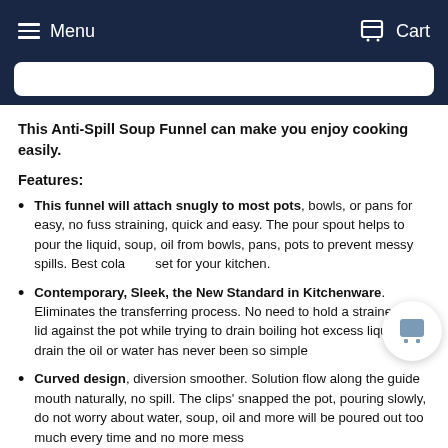Menu   Cart
This Anti-Spill Soup Funnel can make you enjoy cooking easily.
Features:
This funnel will attach snugly to most pots, bowls, or pans for easy, no fuss straining, quick and easy. The pour spout helps to pour the liquid, soup, oil from bowls, pans, pots to prevent messy spills. Best colander set for your kitchen.
Contemporary, Sleek, the New Standard in Kitchenware. Eliminates the transferring process. No need to hold a strainer or a lid against the pot while trying to drain boiling hot excess liquid.To drain the oil or water has never been so simple
Curved design, diversion smoother. Solution flow along the guide mouth naturally, no spill. The clips' snapped the pot, pouring slowly, do not worry about water, soup, oil and more will be poured out too much every time and no more mess